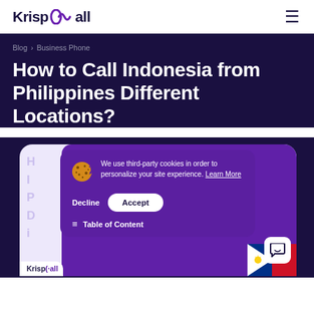KrispCall
Blog › Business Phone
How to Call Indonesia from Philippines Different Locations?
[Figure (screenshot): Screenshot of KrispCall blog article hero image showing a phone interface with a cookie consent banner overlay. The banner reads: We use third-party cookies in order to personalize your site experience. Learn More. Buttons: Decline and Accept. Below is a Table of Content bar. Bottom shows KrispCall logo and Philippine flag.]